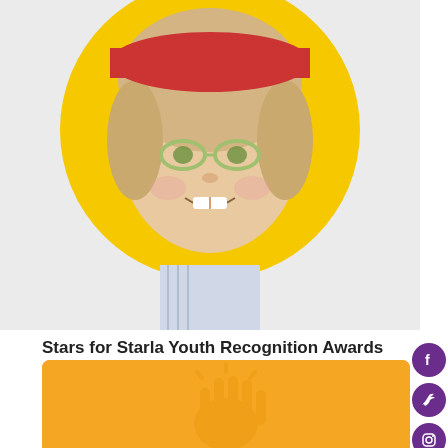[Figure (photo): Child smiling with glasses and pink hat, photo inside yellow circle on light grey background]
Stars for Starla Youth Recognition Awards
28 NOV 2021
Nominate a Youth for a Star Award Stars for Starla recognizes that
READ MORE
[Figure (illustration): Orange card with faint hand/sun illustration]